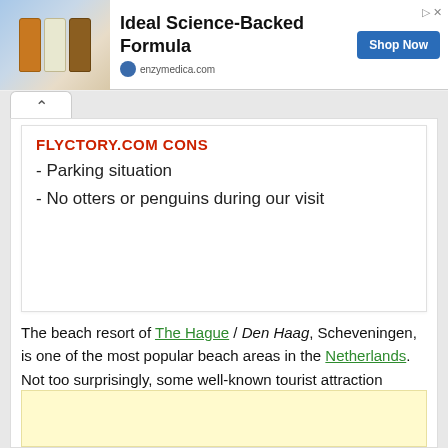[Figure (photo): Advertisement banner for Enzymedica omega supplement showing product bottles]
Ideal Science-Backed Formula
Shop Now
enzymedica.com
FLYCTORY.COM CONS
- Parking situation
- No otters or penguins during our visit
The beach resort of The Hague / Den Haag, Scheveningen, is one of the most popular beach areas in the Netherlands. Not too surprisingly, some well-known tourist attraction chains are part of the touristic Scheveningen as well. One of them is SeaLife. Here are the thoughts about our visit.
[Figure (other): Yellow advertisement block at bottom of page]